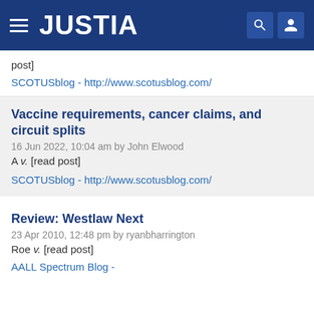JUSTIA
post]
SCOTUSblog - http://www.scotusblog.com/
Vaccine requirements, cancer claims, and circuit splits
16 Jun 2022, 10:04 am by John Elwood
A v. [read post]
SCOTUSblog - http://www.scotusblog.com/
Review: Westlaw Next
23 Apr 2010, 12:48 pm by ryanbharrington
Roe v. [read post]
AALL Spectrum Blog -